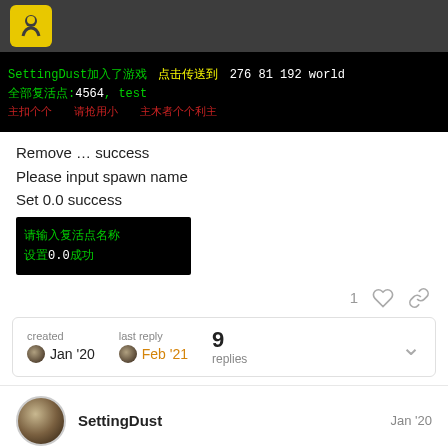[Figure (screenshot): Forum website header bar with yellow logo icon on dark grey background]
[Figure (screenshot): Minecraft-style game screenshot showing green text: SettingDust加入了游戏 点击传送到 276 81 192 world, 全部复活点:4564, test, and red Chinese text below]
Remove … success
Please input spawn name
Set 0.0 success
[Figure (screenshot): Game UI showing green Chinese text: 请输入复活点名称 设置0.0成功]
1 ♡ 🔗
created Jan '20  last reply Feb '21  9 replies
SettingDust  Jan '20
A new version has been released for MultiSpawn 3, it is